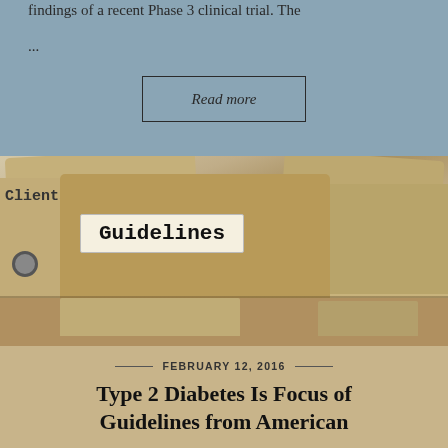findings of a recent Phase 3 clinical trial. The
...
Read more
[Figure (photo): Photo of file folders with tabs, the center tab labeled 'Guidelines' in typewriter font on a white label, with another folder tab showing 'Clients' on the left.]
FEBRUARY 12, 2016
Type 2 Diabetes Is Focus of Guidelines from American